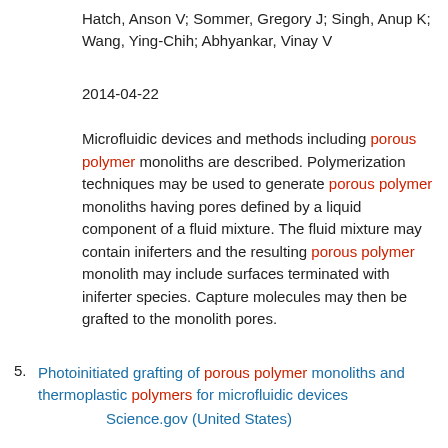Hatch, Anson V; Sommer, Gregory J; Singh, Anup K; Wang, Ying-Chih; Abhyankar, Vinay V
2014-04-22
Microfluidic devices and methods including porous polymer monoliths are described. Polymerization techniques may be used to generate porous polymer monoliths having pores defined by a liquid component of a fluid mixture. The fluid mixture may contain iniferters and the resulting porous polymer monolith may include surfaces terminated with iniferter species. Capture molecules may then be grafted to the monolith pores.
5. Photoinitiated grafting of porous polymer monoliths and thermoplastic polymers for microfluidic devices
Science.gov (United States)
Frechet, Jean M. J. [Oakland, CA; Svec, Frantisek [Alameda, CA; Rohr, Thomas [Leiden, NL
2008-10-07
A microfluidic device preferably made of a thermoplastic